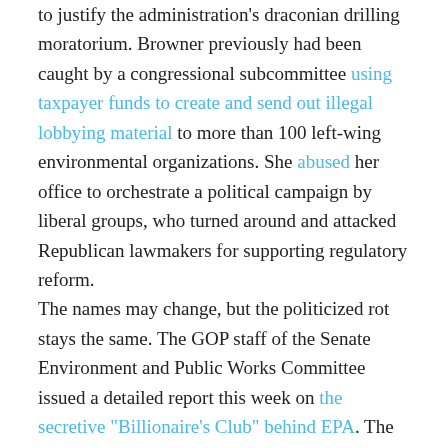to justify the administration's draconian drilling moratorium. Browner previously had been caught by a congressional subcommittee using taxpayer funds to create and send out illegal lobbying material to more than 100 left-wing environmental organizations. She abused her office to orchestrate a political campaign by liberal groups, who turned around and attacked Republican lawmakers for supporting regulatory reform. The names may change, but the politicized rot stays the same. The GOP staff of the Senate Environment and Public Works Committee issued a detailed report this week on the secretive "Billionaire's Club" behind EPA. The analysis exposed how a massive network of left-wing foundations, activists and wealthy donors exploits IRS-approved "charitable" status and tax-deductible donations to lobby